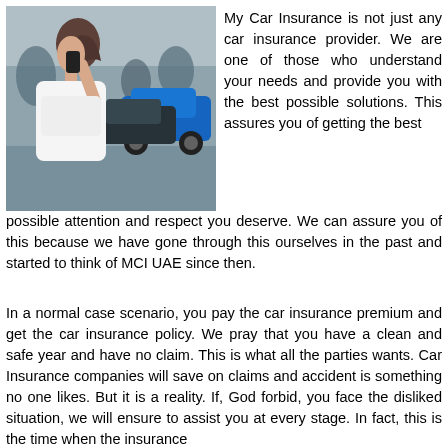[Figure (photo): Woman on phone at scene of car accident, with two cars that have collided in the background]
My Car Insurance is not just any car insurance provider. We are one of those who understand your needs and provide you with the best possible solutions. This assures you of getting the best possible attention and respect you deserve. We can assure you of this because we have gone through this ourselves in the past and started to think of MCI UAE since then.
In a normal case scenario, you pay the car insurance premium and get the car insurance policy. We pray that you have a clean and safe year and have no claim. This is what all the parties wants. Car Insurance companies will save on claims and accident is something no one likes. But it is a reality. If, God forbid, you face the disliked situation, we will ensure to assist you at every stage. In fact, this is the time when the insurance